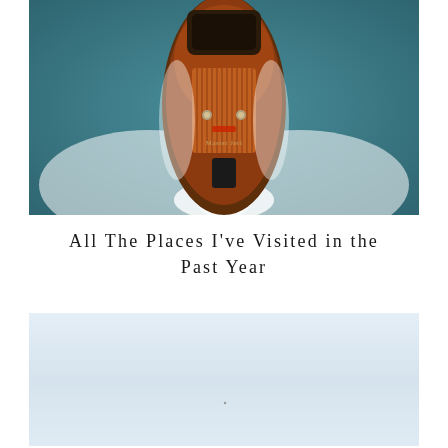[Figure (photo): Aerial view of a classic wooden motorboat with mahogany finish speeding across dark teal water, leaving a white wake behind it. The boat is viewed from directly above, showing its wooden deck with striped planking and chrome fittings.]
All The Places I've Visited in the Past Year
[Figure (photo): A mostly white/light blue-grey image, appears to be a very faded or washed-out landscape or sky photo with minimal detail visible.]